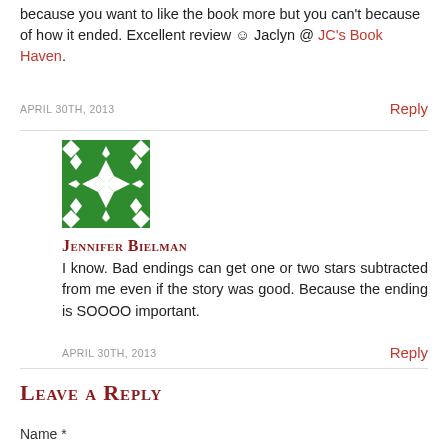because you want to like the book more but you can't because of how it ended. Excellent review 😊 Jaclyn @ JC's Book Haven.
APRIL 30TH, 2013
Reply
[Figure (illustration): Green and white decorative geometric avatar icon with diamond/star patterns]
Jennifer Bielman
I know. Bad endings can get one or two stars subtracted from me even if the story was good. Because the ending is SOOOO important.
APRIL 30TH, 2013
Reply
Leave a Reply
Name *